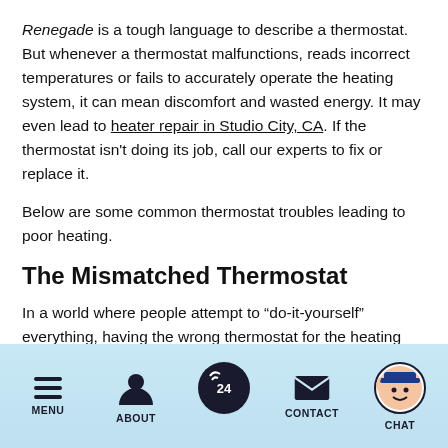Renegade is a tough language to describe a thermostat. But whenever a thermostat malfunctions, reads incorrect temperatures or fails to accurately operate the heating system, it can mean discomfort and wasted energy. It may even lead to heater repair in Studio City, CA. If the thermostat isn't doing its job, call our experts to fix or replace it.
Below are some common thermostat troubles leading to poor heating.
The Mismatched Thermostat
In a world where people attempt to “do-it-yourself” everything, having the wrong thermostat for the heating system happens too often. Thermostats aren’t all interchangeable. A new thermostat must match the heating
MENU | ABOUT | [24hr icon] | CONTACT | CHAT